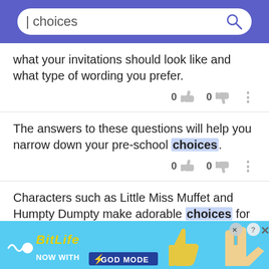choices [search bar]
what your invitations should look like and what type of wording you prefer.
The answers to these questions will help you narrow down your pre-school choices.
Characters such as Little Miss Muffet and Humpty Dumpty make adorable choices for little boys and little girls.
[Figure (screenshot): BitLife advertisement banner with 'NOW WITH GOD MODE' text, thumbs up graphic and pointing hand graphic on cyan background]